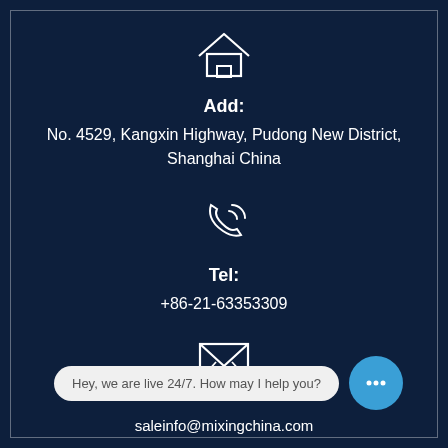[Figure (illustration): House/home icon outline in white]
Add:
No. 4529, Kangxin Highway, Pudong New District, Shanghai China
[Figure (illustration): Phone/telephone ringing icon in white outline]
Tel:
+86-21-63353309
[Figure (illustration): Envelope/mail icon in white outline]
Hey, we are live 24/7. How may I help you?
saleinfo@mixingchina.com